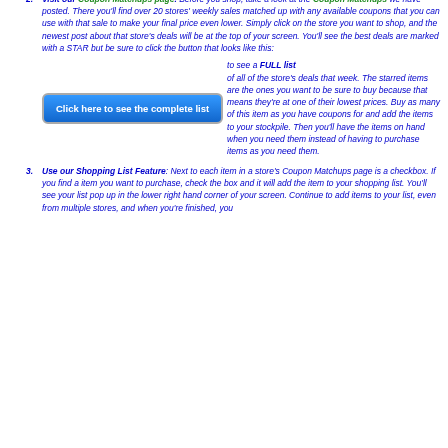them each week, and in about 6-8 weeks, you'll have all the coupons you need to snag every deal that you want!
Visit our Coupon Matchups page. Before you shop, take a look at the Coupon Matchups we have posted. There you'll find over 20 stores' weekly sales matched up with any available coupons that you can use with that sale to make your final price even lower. Simply click on the store you want to shop, and the newest post about that store's deals will be at the top of your screen. You'll see the best deals are marked with a STAR but be sure to click the button that looks like this:
[Figure (other): Blue button with text 'Click here to see the complete list']
to see a FULL list of all of the store's deals that week. The starred items are the ones you want to be sure to buy because that means they're at one of their lowest prices. Buy as many of this item as you have coupons for and add the items to your stockpile. Then you'll have the items on hand when you need them instead of having to purchase items as you need them.
Use our Shopping List Feature: Next to each item in a store's Coupon Matchups page is a checkbox. If you find a item you want to purchase, check the box and it will add the item to your shopping list. You'll see your list pop up in the lower right hand corner of your screen. Continue to add items to your list, even from multiple stores, and when you're finished, you